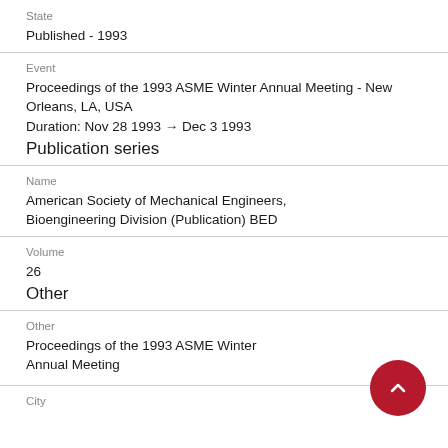State
Published - 1993
Event
Proceedings of the 1993 ASME Winter Annual Meeting - New Orleans, LA, USA
Duration: Nov 28 1993 → Dec 3 1993
Publication series
Name
American Society of Mechanical Engineers, Bioengineering Division (Publication) BED
Volume
26
Other
Other
Proceedings of the 1993 ASME Winter Annual Meeting
City